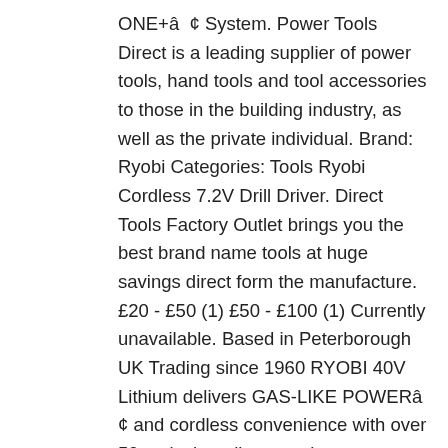ONE+â  ¢ System. Power Tools Direct is a leading supplier of power tools, hand tools and tool accessories to those in the building industry, as well as the private individual. Brand: Ryobi Categories: Tools Ryobi Cordless 7.2V Drill Driver. Direct Tools Factory Outlet brings you the best brand name tools at huge savings direct form the manufacture. £20 - £50 (1) £50 - £100 (1) Currently unavailable. Based in Peterborough UK Trading since 1960 RYOBI 40V Lithium delivers GAS-LIKE POWERâ  ¢ and cordless convenience with over 50 tools that all run on the same battery platform. Amazon.co.uk Today's Deals Warehouse Deals Outlet Subscribe & Save Vouchers Amazon Family Amazon Prime Prime Video Prime Student Mobile Apps Amazon Pickup Locations Amazon Assistant 1-16 of 361 results for "Ryobi" Skip to main search results Eligible for free